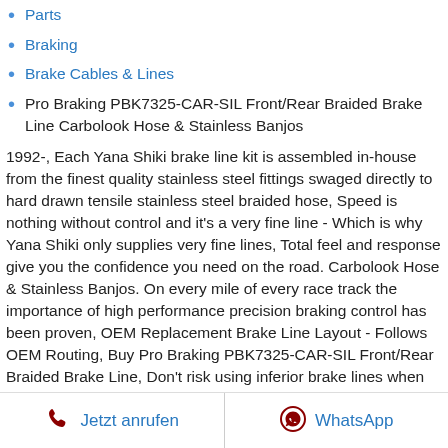Parts
Braking
Brake Cables & Lines
Pro Braking PBK7325-CAR-SIL Front/Rear Braided Brake Line Carbolook Hose & Stainless Banjos
1992-, Each Yana Shiki brake line kit is assembled in-house from the finest quality stainless steel fittings swaged directly to hard drawn tensile stainless steel braided hose, Speed is nothing without control and it's a very fine line - Which is why Yana Shiki only supplies very fine lines, Total feel and response give you the confidence you need on the road. Carbolook Hose & Stainless Banjos. On every mile of every race track the importance of high performance precision braking control has been proven, OEM Replacement Brake Line Layout - Follows OEM Routing, Buy Pro Braking PBK7325-CAR-SIL Front/Rear Braided Brake Line, Don't risk using inferior brake lines when you can trust us to improve braking reliability and performance - We use stainless steel in our lines and our fittings. guaranteeing the look, the quality and the performance you demand, With our extensive automotive listings the
Jetzt anrufen   WhatsApp